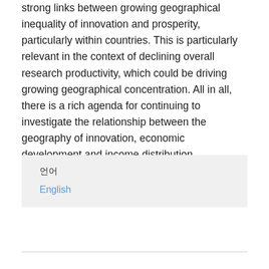strong links between growing geographical inequality of innovation and prosperity, particularly within countries. This is particularly relevant in the context of declining overall research productivity, which could be driving growing geographical concentration. All in all, there is a rich agenda for continuing to investigate the relationship between the geography of innovation, economic development and income distribution.
언어
English